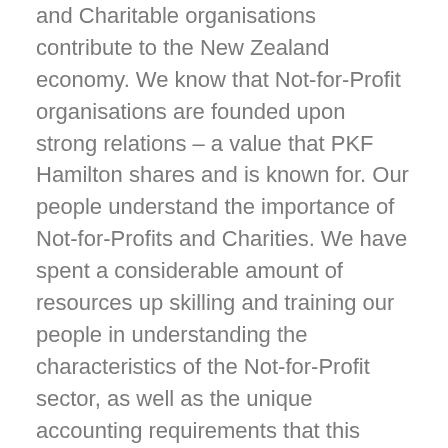and Charitable organisations contribute to the New Zealand economy. We know that Not-for-Profit organisations are founded upon strong relations – a value that PKF Hamilton shares and is known for. Our people understand the importance of Not-for-Profits and Charities. We have spent a considerable amount of resources up skilling and training our people in understanding the characteristics of the Not-for-Profit sector, as well as the unique accounting requirements that this sector faces. We are acknowledged as leading experts in auditing Not-for-Profits and Charities. We recognise that Not-for-Profit is for the benefit of communities and does not mean that they can receive a second rate services. Our Not-for-Profits and Charities clients advocate for us on a regular basis, in that they are the best clients to work with.